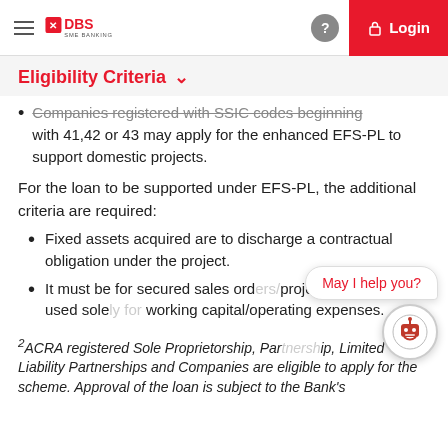DBS SME BANKING | Login
Eligibility Criteria
Companies registered with SSIC codes beginning with 41,42 or 43 may apply for the enhanced EFS-PL to support domestic projects.
For the loan to be supported under EFS-PL, the additional criteria are required:
Fixed assets acquired are to discharge a contractual obligation under the project.
It must be for secured sales orders/projects. It cannot be used solely for working capital/operating expenses.
2ACRA registered Sole Proprietorship, Partnership, Limited Liability Partnerships and Companies are eligible to apply for the scheme. Approval of the loan is subject to the Bank's assessment.